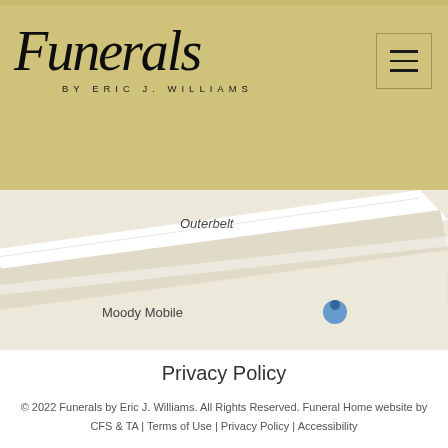[Figure (logo): Funerals by Eric J. Williams funeral home logo in cursive/italic script on gold/tan background with hamburger menu button]
[Figure (map): Google Maps street map snippet showing Outerbelt, Bangor Ave, Elementary School, Moody Mobile and surrounding streets]
Privacy Policy
© 2022 Funerals by Eric J. Williams. All Rights Reserved. Funeral Home website by CFS & TA | Terms of Use | Privacy Policy | Accessibility